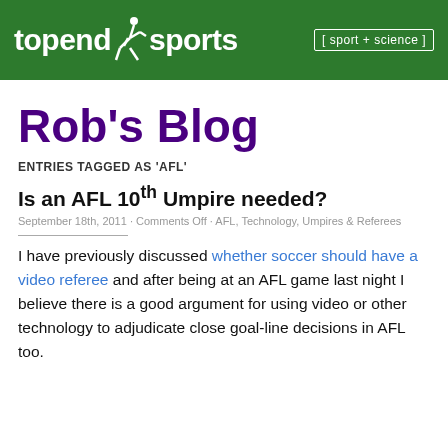topend sports [ sport + science ]
Rob's Blog
ENTRIES TAGGED AS 'AFL'
Is an AFL 10th Umpire needed?
September 18th, 2011 · Comments Off · AFL, Technology, Umpires & Referees
I have previously discussed whether soccer should have a video referee and after being at an AFL game last night I believe there is a good argument for using video or other technology to adjudicate close goal-line decisions in AFL too.